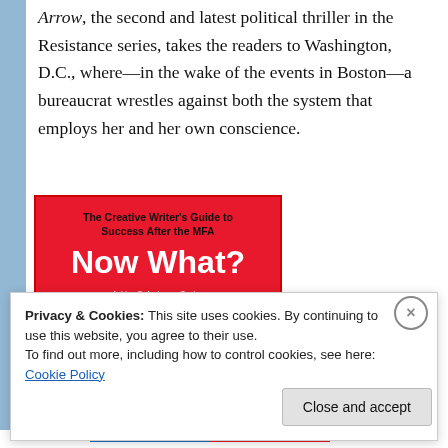Arrow, the second and latest political thriller in the Resistance series, takes the readers to Washington, D.C., where—in the wake of the events in Boston—a bureaucrat wrestles against both the system that employs her and her own conscience.
[Figure (illustration): Book cover for 'Now What? The Creative Writer's Guide to Success After the MFA' by Ashley C. Andersen Zantop, Michael Bayer, A.J. O'Connell. Red background with white bold title text and black hand graphic.]
Privacy & Cookies: This site uses cookies. By continuing to use this website, you agree to their use.
To find out more, including how to control cookies, see here: Cookie Policy
Close and accept